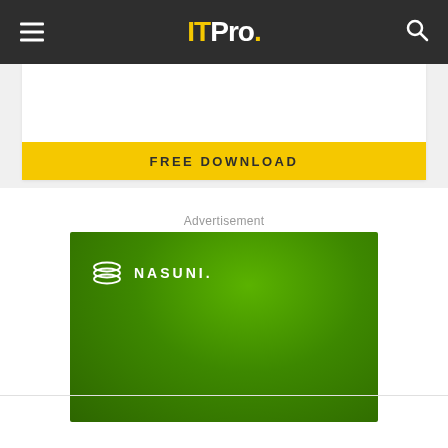ITPro.
FREE DOWNLOAD
Advertisement
[Figure (logo): Nasuni advertisement banner with green gradient background and Nasuni logo (stacked disk icon with NASUNI. text in white)]